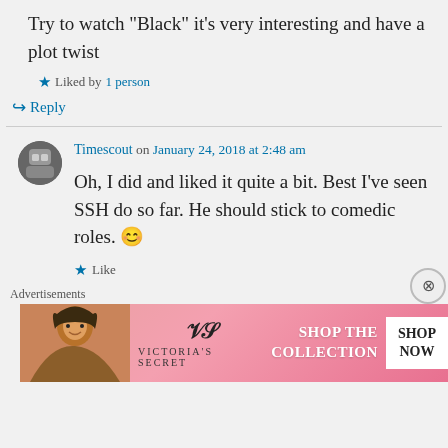Try to watch "Black" it's very interesting and have a plot twist
Liked by 1 person
Reply
Timescout on January 24, 2018 at 2:48 am
Oh, I did and liked it quite a bit. Best I've seen SSH do so far. He should stick to comedic roles. 😊
Like
Advertisements
[Figure (photo): Victoria's Secret advertisement banner with a woman, VS logo, 'SHOP THE COLLECTION' text, and 'SHOP NOW' button]